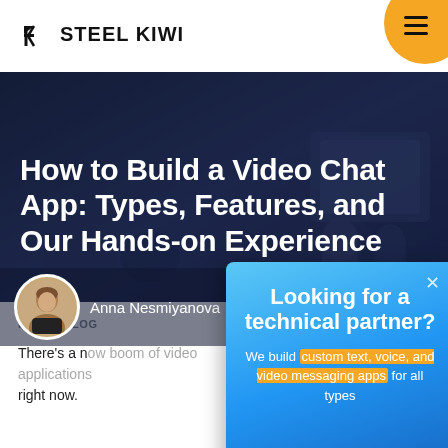[Figure (logo): Steel Kiwi logo with SK icon and wordmark]
[Figure (photo): Dark bluish background hero image with people in a meeting/lecture setting, semi-transparent overlay]
How to Build a Video Chat App: Types, Features, and Our Hands-on Experience
[Figure (photo): Author portrait photo of Anna Nesmiyanova in a circular frame]
Anna Nesmiyanova
HOME / BLOG
There's a n... right now.
[Figure (other): Modal popup with gradient blue background. Title: Looking for a technical partner? Body: We build custom text, voice, and video messaging apps for all types of business.]